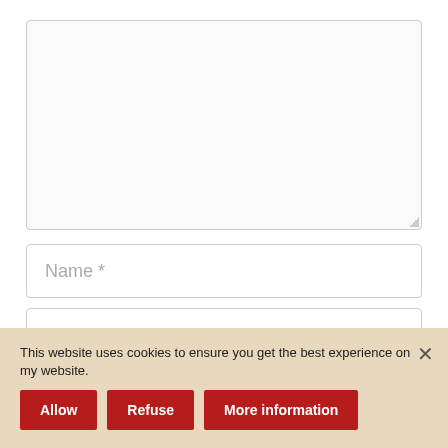[Figure (screenshot): Large empty textarea input field with light gray border and background, resize handle at bottom-right corner]
Name *
Email *
I have read and accepted the Privacy Polic
Post Comment
This website uses cookies to ensure you get the best experience on my website.
Allow
Refuse
More information